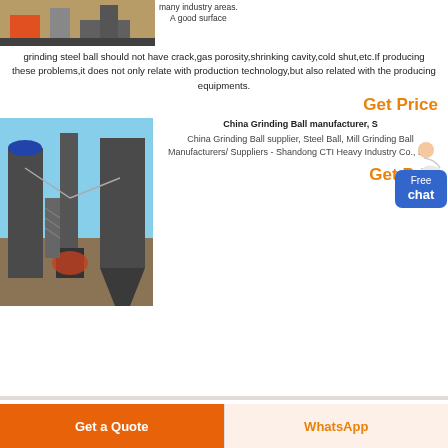[Figure (photo): Industrial machinery equipment photo at top left]
many industry areas. A good surface grinding steel ball should not have crack,gas porosity,shrinking cavity,cold shut,etc.If producing these problems,it does not only relate with production technology,but also related with the producing equipments.
Get Price
[Figure (photo): Industrial grinding mill equipment with silos and pipes outdoors]
China Grinding Ball manufacturer, S... China Grinding Ball supplier, Steel Ball, Mill Grinding Ball Manufacturers/Suppliers - Shandong CTI Heavy Industry Co., Ltd.
Get Price
Free chat
Get a Quote
WhatsApp